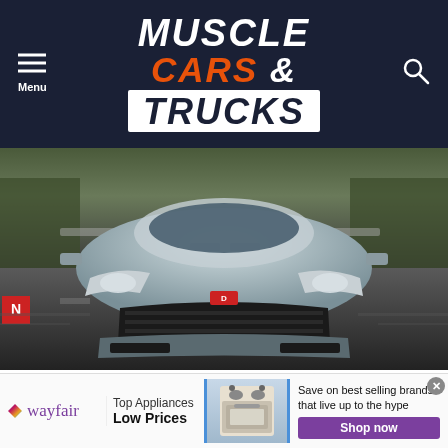Muscle Cars & Trucks
[Figure (photo): Front view of a 2023 Dodge Hornet GT in silver/grey driving on a road, shot from a low angle head-on perspective]
2023 DODGE HORNET GT: THE MOST
[Figure (infographic): Wayfair advertisement banner: Top Appliances Low Prices, Save on best selling brands that live up to the hype, Shop now button]